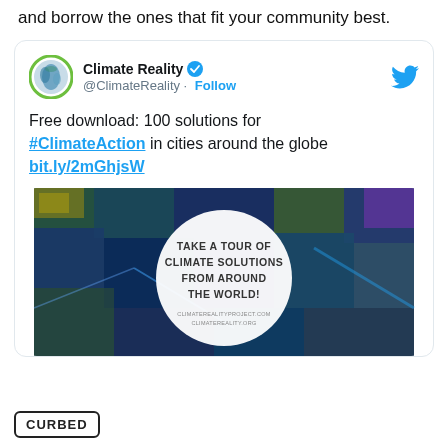and borrow the ones that fit your community best.
[Figure (screenshot): Tweet from @ClimateReality promoting a free download of 100 climate action solutions for cities around the globe, with a link bit.ly/2mGhjsW and an image showing a circular badge reading 'TAKE A TOUR OF CLIMATE SOLUTIONS FROM AROUND THE WORLD!' over an aerial city photo.]
CURBED